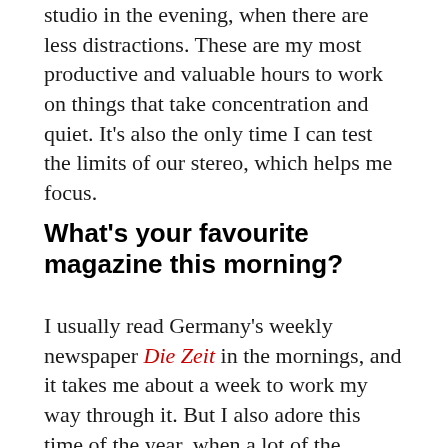studio in the evening, when there are less distractions. These are my most productive and valuable hours to work on things that take concentration and quiet. It's also the only time I can test the limits of our stereo, which helps me focus.
What's your favourite magazine this morning?
I usually read Germany's weekly newspaper Die Zeit in the mornings, and it takes me about a week to work my way through it. But I also adore this time of the year, when a lot of the biannuals come out, such as 032c, Fantastic Man or even good old Purple. Other than that, German economy magazine brand eins is